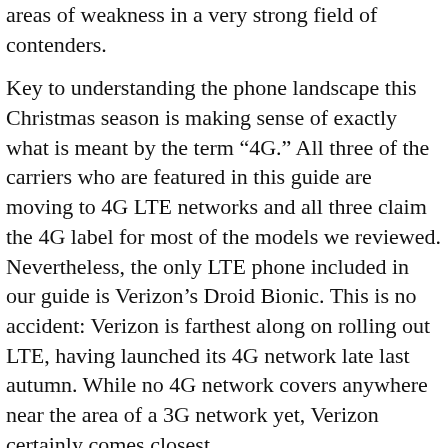areas of weakness in a very strong field of contenders.
Key to understanding the phone landscape this Christmas season is making sense of exactly what is meant by the term "4G." All three of the carriers who are featured in this guide are moving to 4G LTE networks and all three claim the 4G label for most of the models we reviewed. Nevertheless, the only LTE phone included in our guide is Verizon's Droid Bionic. This is no accident: Verizon is farthest along on rolling out LTE, having launched its 4G network late last autumn. While no 4G network covers anywhere near the area of a 3G network yet, Verizon certainly comes closest.
Sprint has not yet started to turn on its newly announced LTE network; instead, its current 4G models run on another 4G standard called WiMax. AT&T for its part is more thanalling attention to 4G, at a slow...